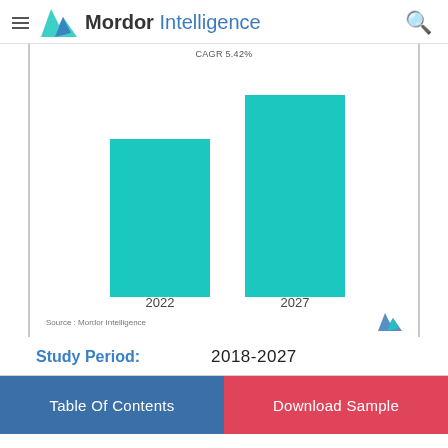Mordor Intelligence
CAGR 5.42%
[Figure (bar-chart): Market Size 2022 vs 2027]
Source : Mordor Intelligence
Study Period:  2018-2027
Table Of Contents
Download Sample